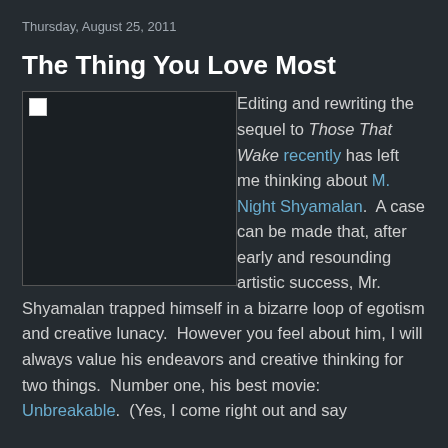Thursday, August 25, 2011
The Thing You Love Most
[Figure (photo): A broken or missing image placeholder (black rectangle with small image icon in top-left corner)]
Editing and rewriting the sequel to Those That Wake recently has left me thinking about M. Night Shyamalan.  A case can be made that, after early and resounding artistic success, Mr. Shyamalan trapped himself in a bizarre loop of egotism and creative lunacy.  However you feel about him, I will always value his endeavors and creative thinking for two things.  Number one, his best movie: Unbreakable.  (Yes, I come right out and say...